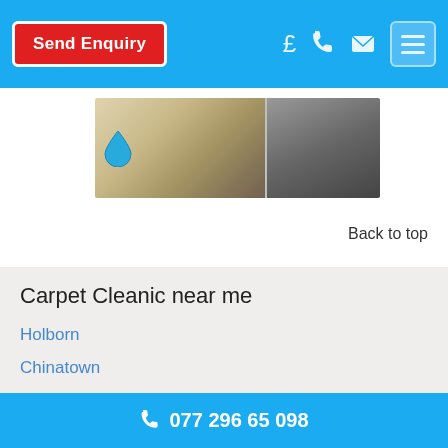Send Enquiry
[Figure (photo): Carpet cleaning service photo showing flooring with a water drop logo on the left side]
Back to top
Carpet Cleanic near me
Holborn
Chinatown
Blackfriars
St Pancras
Marylebone
Somerstown
077 296 65 098